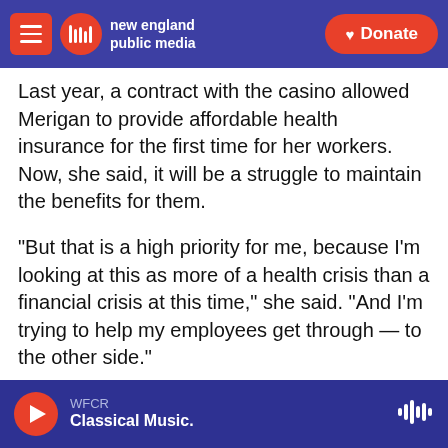new england public media | Donate
Last year, a contract with the casino allowed Merigan to provide affordable health insurance for the first time for her workers. Now, she said, it will be a struggle to maintain the benefits for them.
"But that is a high priority for me, because I'm looking at this as more of a health crisis than a financial crisis at this time," she said. "And I'm trying to help my employees get through — to the other side."
The other side, Merigian said, is when people can shake hands again.
WFCR Classical Music.